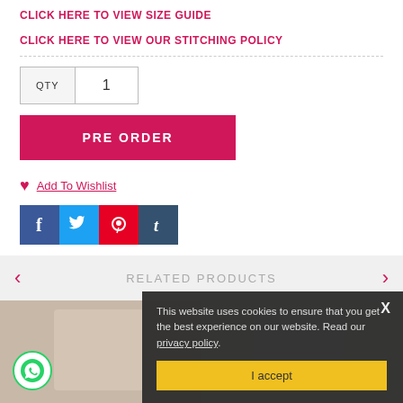CLICK HERE TO VIEW SIZE GUIDE
CLICK HERE TO VIEW OUR STITCHING POLICY
QTY  1
PRE ORDER
Add To Wishlist
[Figure (screenshot): Social media share icons: Facebook, Twitter, Pinterest, Tumblr]
RELATED PRODUCTS
[Figure (screenshot): Cookie consent banner: 'This website uses cookies to ensure that you get the best experience on our website. Read our privacy policy.' with 'I accept' button]
[Figure (photo): Product thumbnail images at the bottom of the page]
[Figure (logo): WhatsApp contact icon (green circle with phone)]